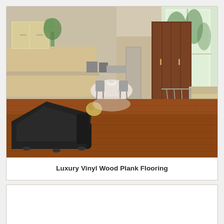[Figure (photo): Interior room photo showing a modern open-plan living and kitchen area with warm reddish-brown luxury vinyl wood plank flooring. A black leather lounge chair is in the foreground, with a dining table and chairs, kitchen cabinets, a concrete pillar, and a staircase with glass railings visible in the background. Large windows let in natural light.]
Luxury Vinyl Wood Plank Flooring
[Figure (photo): Partially visible second card/image area at the bottom of the page, mostly empty white space.]